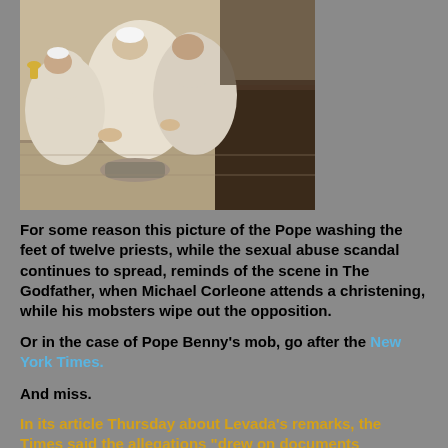[Figure (photo): Aerial/overhead view of the Pope in white robes washing the feet of priests during a religious ceremony inside a church]
For some reason this picture of the Pope washing the feet of twelve priests, while the sexual abuse scandal continues to spread, reminds of the scene in The Godfather, when Michael Corleone attends a christening, while his mobsters wipe out the opposition.
Or in the case of Pope Benny's mob, go after the New York Times.
And miss.
In its article Thursday about Levada's remarks, the Times said the allegations "drew on documents